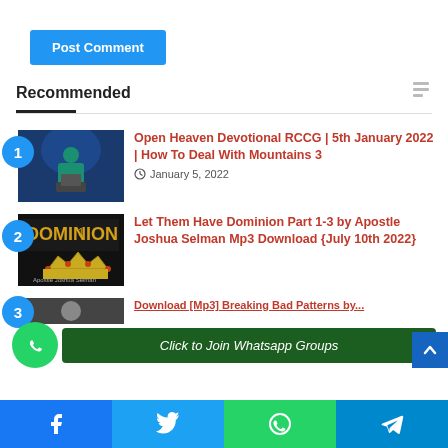Post Comment
Recommended
Open Heaven Devotional RCCG | 5th January 2022 | How To Deal With Mountains 3 — January 5, 2022
Let Them Have Dominion Part 1-3 by Apostle Joshua Selman Mp3 Download {July 10th 2022}
Download [Mp3] Breaking Bad Patterns by...
Click to Join Whatsapp Groups